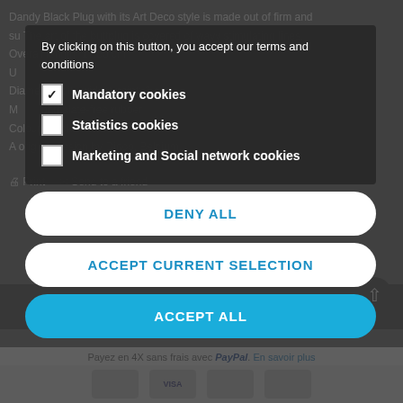Dandy Black Plug with its Art Deco style is made out of firm and su... The ...art of the buttplug is covered of wavy stimulating lines. Overall length: 17.50 cm U... length: 15... Diameter at its widest point: 6 cm M...al, phthalate-free rubber Colour: black A...original design by Dinoo, Belgium...
By clicking on this button, you accept our terms and conditions
Mandatory cookies (checked)
Statistics cookies (unchecked)
Marketing and Social network cookies (unchecked)
DENY ALL
ACCEPT CURRENT SELECTION
ACCEPT ALL
Print   Send to a friend
ADD TO CART
Payez en 4X sans frais avec PayPal. En savoir plus